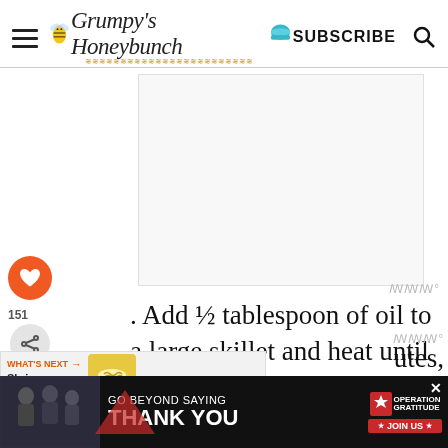Grumpy's Honeybunch — SUBSCRIBE
[Figure (other): White/gray advertisement placeholder area]
. Add ½ tablespoon of oil to a large skillet and heat until hot. Stir in mushrooms, onions, red bell pepper, pickled jalapenos, and
[Figure (other): Bottom banner advertisement: GO BEYOND SAYING THANK YOU — Operation Gratitude JOIN US]
utes,